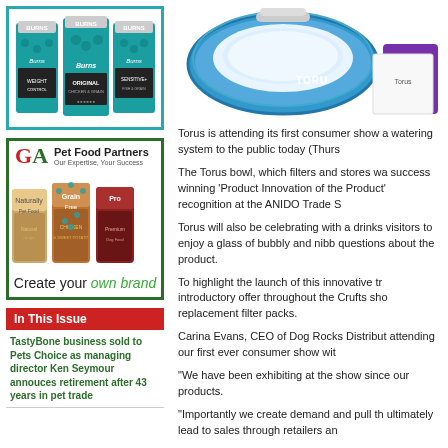[Figure (photo): Burns pet food bags with teal border]
[Figure (illustration): GA Pet Food Partners advertisement showing pet food bags with green border and 'Create your own brand' text]
In This Issue
TastyBone business sold to Pets Choice as managing director Ken Seymour annouces retirement after 43 years in pet trade
[Figure (photo): Torus bowl water filtering system - blue and white bowl]
Torus is attending its first consumer show a watering system to the public today (Thurs
The Torus bowl, which filters and stores wa success winning 'Product Innovation of the Product' recognition at the ANIDO Trade S
Torus will also be celebrating with a drinks visitors to enjoy a glass of bubbly and nibb questions about the product.
To highlight the launch of this innovative tr introductory offer throughout the Crufts sh replacement filter packs.
Carina Evans, CEO of Dog Rocks Distribut attending our first ever consumer show wit
"We have been exhibiting at the show since our products.
"Importantly we create demand and pull th ultimately lead to sales through retailers an